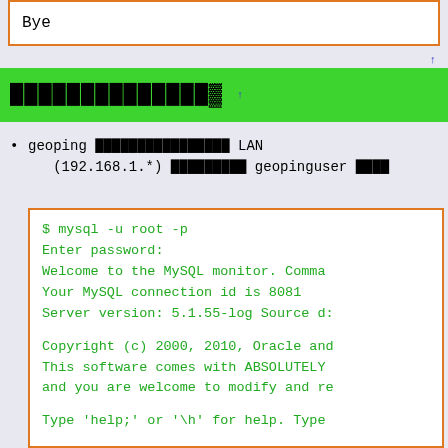Bye
██████████████ ↑
geoping ████████████████ LAN (192.168.1.*) █████████ geopinguser ████
$ mysql -u root -p
Enter password:
Welcome to the MySQL monitor.  Comma
Your MySQL connection id is 8081
Server version: 5.1.55-log Source d:

Copyright (c) 2000, 2010, Oracle and
This software comes with ABSOLUTELY
and you are welcome to modify and re

Type 'help;' or '\h' for help. Type

mysql> create database geoping;